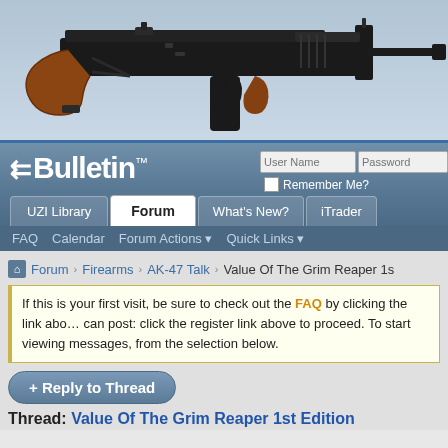[Figure (photo): AK-47 style rifle photograph against a light blue/grey background, showing the receiver, wooden grip, and folded/extended stock]
vBulletin™ — UZI Library | Forum | What's New? | iTrader — User Name / Password login area
UZI Library
Forum
What's New?
iTrader
FAQ
Calendar
Forum Actions ▼
Quick Links ▼
Forum › Firearms › AK-47 Talk › Value Of The Grim Reaper 1st Edition
If this is your first visit, be sure to check out the FAQ by clicking the link above. You may have to register before you can post: click the register link above to proceed. To start viewing messages, select the forum that you want to visit from the selection below.
+ Reply to Thread
Thread: Value Of The Grim Reaper 1st Edition